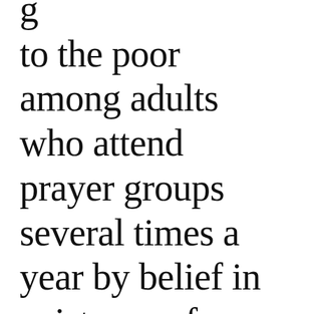g to the poor among adults who attend prayer groups several times a year by belief in existence of standards for right and wrong